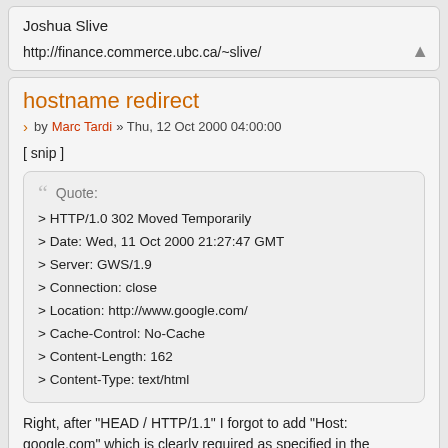Joshua Slive
http://finance.commerce.ubc.ca/~slive/
hostname redirect
by Marc Tardi » Thu, 12 Oct 2000 04:00:00
[ snip ]
Quote:
> HTTP/1.0 302 Moved Temporarily
> Date: Wed, 11 Oct 2000 21:27:47 GMT
> Server: GWS/1.9
> Connection: close
> Location: http://www.google.com/
> Cache-Control: No-Cache
> Content-Length: 162
> Content-Type: text/html
Right, after "HEAD / HTTP/1.1" I forgot to add "Host: google.com" which is clearly required as specified in the HTTP/1.1 standard. Of course, GWS is cheating in the above example, since "Host:" is not necessary according to the HTTP/1.0 standard. If omitted,